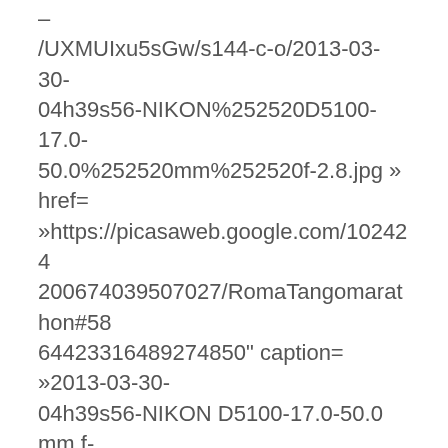– /UXMUIxu5sGw/s144-c-o/2013-03-30-04h39s56-NIKON%252520D5100-17.0-50.0%252520mm%252520f-2.8.jpg » href= »https://picasaweb.google.com/102424200674039507027/RomaTangomarathon#5864423316489274850" caption= »2013-03-30-04h39s56-NIKON D5100-17.0-50.0 mm f-2.8.jpg » type= »image » alt= »2013-03-30-04h39s56-NIKON D5100-17.0-50.0 mm f-2.8.jpg » ] [pe2-image src= »http://lh5.ggpht.com/-fnMQa7sxP9s/UWKd-uYExAI/AAAAAAAAek/t-x0fLp4nGI/s144-c-o/2013-03-30-04h41s40-NIKON%252520D5100-17.0-50.0%252520mm%252520f-2.8.jpg »